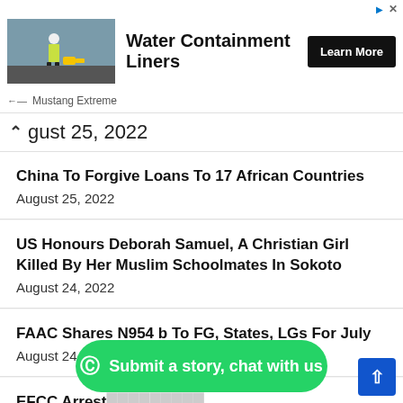[Figure (screenshot): Advertisement banner for Water Containment Liners by Mustang Extreme. Shows a worker on a dark liner surface. Includes a black 'Learn More' button.]
gust 25, 2022
China To Forgive Loans To 17 African Countries August 25, 2022
US Honours Deborah Samuel, A Christian Girl Killed By Her Muslim Schoolmates In Sokoto August 24, 2022
FAAC Shares N954 b To FG, States, LGs For July August 24, 2022
EFCC Arrest ... Accounts, Eno Ubi-Otu August 24, 2022
[Figure (screenshot): Green WhatsApp button reading 'Submit a story, chat with us']